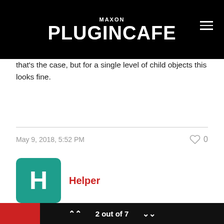MAXON PLUGINCAFE
that's the case, but for a single level of child objects this looks fine.
May 9, 2018, 5:52 PM
Helper
THE POST BELOW IS MORE THAN 5 YEARS OLD. RELATED SUPPORT INFORMATION MIGHT BE OUTDATED OR DEPRECATED
2 out of 7